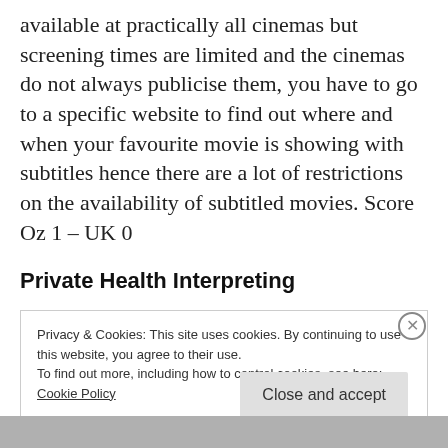available at practically all cinemas but screening times are limited and the cinemas do not always publicise them, you have to go to a specific website to find out where and when your favourite movie is showing with subtitles hence there are a lot of restrictions on the availability of subtitled movies. Score Oz 1 – UK 0
Private Health Interpreting
Privacy & Cookies: This site uses cookies. By continuing to use this website, you agree to their use.
To find out more, including how to control cookies, see here:
Cookie Policy
Close and accept